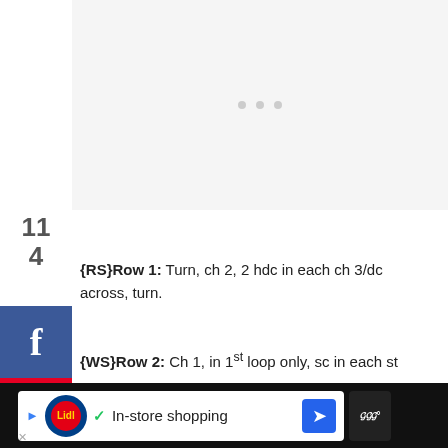[Figure (other): Gray placeholder area with three dots, representing an ad or image loading area]
114 (share count)
[Figure (infographic): Vertical social media share sidebar with Facebook (blue), Pinterest (red), Instagram (gradient), and More/Plus (orange) buttons]
{RS}Row 1: Turn, ch 2, 2 hdc in each ch 3/dc across, turn.
{WS}Row 2: Ch 1, in 1st loop only, sc in each st
[Figure (other): Bottom advertisement bar: Lidl In-store shopping ad with navigation icons]